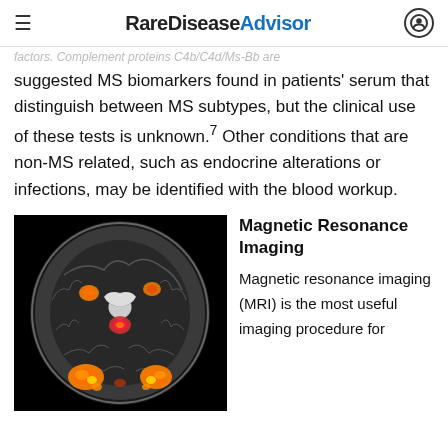Rare Disease Advisor
suggested MS biomarkers found in patients' serum that distinguish between MS subtypes, but the clinical use of these tests is unknown.7 Other conditions that are non-MS related, such as endocrine alterations or infections, may be identified with the blood workup.
[Figure (photo): MRI brain scan axial view showing orange and red highlighted lesion areas against grayscale brain tissue on black background]
Magnetic Resonance Imaging
Magnetic resonance imaging (MRI) is the most useful imaging procedure for